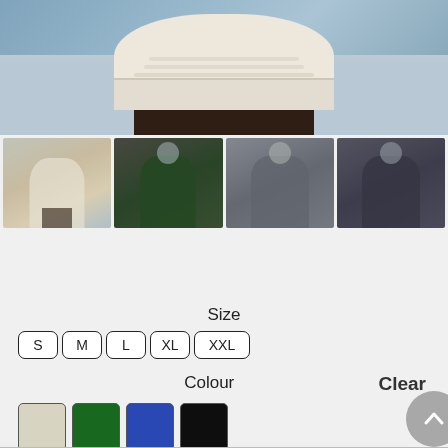[Figure (photo): Main product photo showing a man wearing a cream cable-knit sweater near the ocean, cropped to show torso]
[Figure (photo): Four thumbnail product images showing the sweater in different colors: cream, dark green, grey, and dark/charcoal]
Size
S  M  L  XL  XXL
Colour
Clear
[Figure (illustration): Four colour swatches: cream/beige, dark green, blue, black. Plus a grey circular scroll-to-top button.]